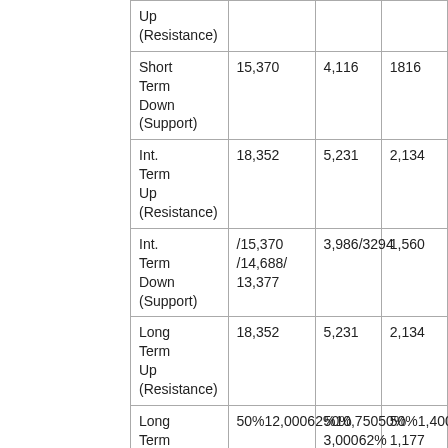| Term/Direction | DJIA | S&P 500 | NASDAQ |
| --- | --- | --- | --- |
| Up (Resistance) |  |  |  |
| Short Term Down (Support) | 15,370 | 4,116 | 1816 |
| Int. Term Up (Resistance) | 18,352 | 5,231 | 2,134 |
| Int. Term Down (Support) | /15,370 /14,688/ 13,377 | 3,986/3294 | 1,560 |
| Long Term Up (Resistance) | 18,352 | 5,231 | 2,134 |
| Long Term Down Fibonacci Support | 50%12,00062%10,75050%
2008 LOW
6,627 | 50%3,00062%2,555
2008
LOW | 50%1,40062%1,177
2008
LOW
666 |